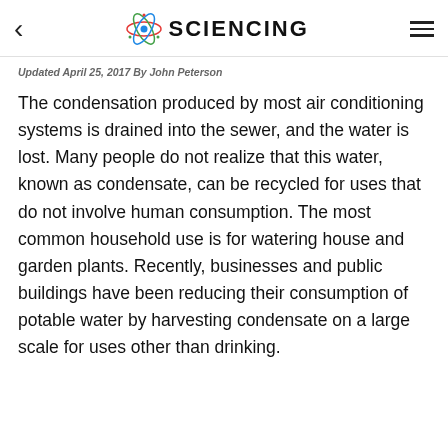< SCIENCING ☰
Updated April 25, 2017  By John Peterson
The condensation produced by most air conditioning systems is drained into the sewer, and the water is lost. Many people do not realize that this water, known as condensate, can be recycled for uses that do not involve human consumption. The most common household use is for watering house and garden plants. Recently, businesses and public buildings have been reducing their consumption of potable water by harvesting condensate on a large scale for uses other than drinking.